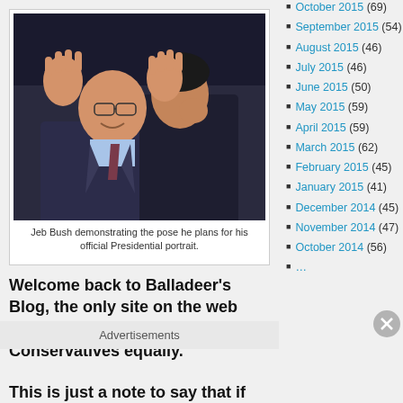[Figure (photo): Two men in suits, one appearing to whisper into the other's ear while the other holds both hands up near his face with fingers spread]
Jeb Bush demonstrating the pose he plans for his official Presidential portrait.
Welcome back to Balladeer's Blog, the only site on the web that truly criticizes Liberals and Conservatives equally.
This is just a note to say that if the repulsive
Advertisements
October 2015 (69)
September 2015 (54)
August 2015 (46)
July 2015 (46)
June 2015 (50)
May 2015 (59)
April 2015 (59)
March 2015 (62)
February 2015 (45)
January 2015 (41)
December 2014 (45)
November 2014 (47)
October 2014 (56)